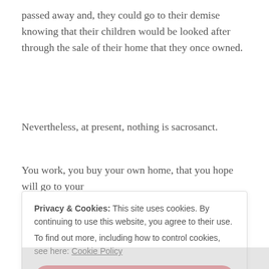passed away and, they could go to their demise knowing that their children would be looked after through the sale of their home that they once owned.
Nevertheless, at present, nothing is sacrosanct.
You work, you buy your own home, that you hope will go to your
Privacy & Cookies: This site uses cookies. By continuing to use this website, you agree to their use.
To find out more, including how to control cookies, see here: Cookie Policy

Close and accept